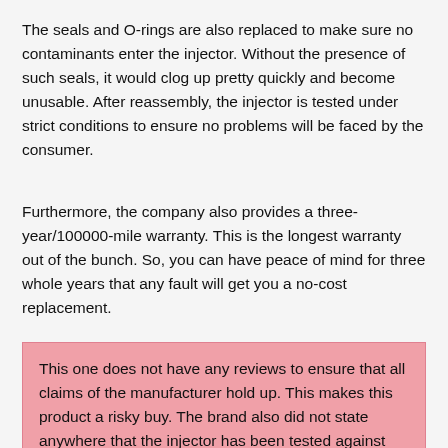The seals and O-rings are also replaced to make sure no contaminants enter the injector. Without the presence of such seals, it would clog up pretty quickly and become unusable. After reassembly, the injector is tested under strict conditions to ensure no problems will be faced by the consumer.
Furthermore, the company also provides a three-year/100000-mile warranty. This is the longest warranty out of the bunch. So, you can have peace of mind for three whole years that any fault will get you a no-cost replacement.
This one does not have any reviews to ensure that all claims of the manufacturer hold up. This makes this product a risky buy. The brand also did not state anywhere that the injector has been tested against OEM specifications.